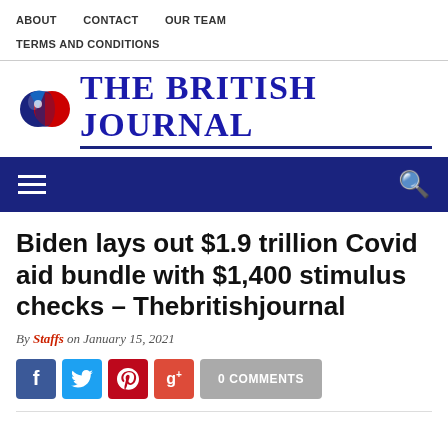ABOUT   CONTACT   OUR TEAM   TERMS AND CONDITIONS
[Figure (logo): The British Journal logo with globe icon and bold serif text]
[Figure (other): Navy blue navigation bar with hamburger menu icon on left and search icon on right]
Biden lays out $1.9 trillion Covid aid bundle with $1,400 stimulus checks – Thebritishjournal
By Staffs on January 15, 2021
0 COMMENTS